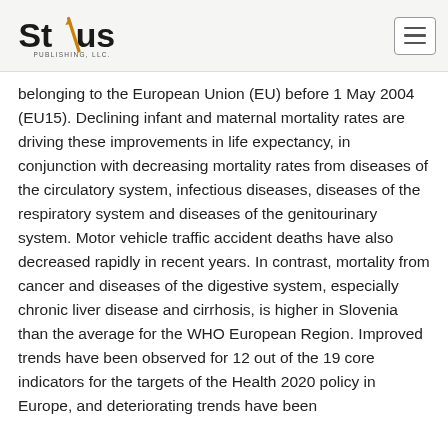Stylus Publishing, LLC
belonging to the European Union (EU) before 1 May 2004 (EU15). Declining infant and maternal mortality rates are driving these improvements in life expectancy, in conjunction with decreasing mortality rates from diseases of the circulatory system, infectious diseases, diseases of the respiratory system and diseases of the genitourinary system. Motor vehicle traffic accident deaths have also decreased rapidly in recent years. In contrast, mortality from cancer and diseases of the digestive system, especially chronic liver disease and cirrhosis, is higher in Slovenia than the average for the WHO European Region. Improved trends have been observed for 12 out of the 19 core indicators for the targets of the Health 2020 policy in Europe, and deteriorating trends have been